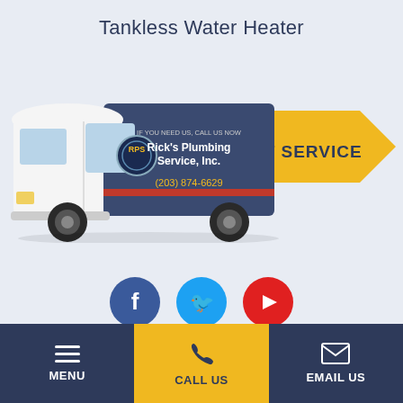Tankless Water Heater
[Figure (illustration): Rick's Plumbing Service, Inc. van with yellow arrow pointing right labeled REQUEST SERVICE. Van shows phone number (203) 874-6629.]
[Figure (infographic): Three social media icon circles: Facebook (dark blue, f), Twitter (light blue, bird), YouTube (red, play button)]
MENU | CALL US | EMAIL US